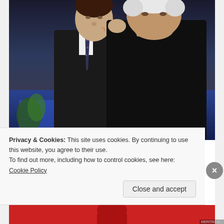[Figure (photo): Two men in dark suits close together, one appearing to kiss the other on the cheek, seated at what appears to an event with blue seating visible in the background]
[Photos] Inside John Travolta's Mansion Where He Lives With His Partner.
Medicare Records
SHARE THIS:
Twitter  Facebook
Privacy & Cookies: This site uses cookies. By continuing to use this website, you agree to their use.
To find out more, including how to control cookies, see here: Cookie Policy
Close and accept